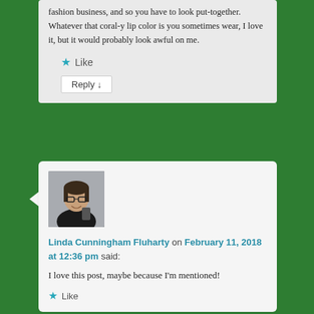fashion business, and so you have to look put-together. Whatever that coral-y lip color is you sometimes wear, I love it, but it would probably look awful on me.
Like
Reply ↓
[Figure (photo): Profile photo of Linda Cunningham Fluharty, a woman with glasses and dark hair]
Linda Cunningham Fluharty on February 11, 2018 at 12:36 pm said:
I love this post, maybe because I'm mentioned!
Like